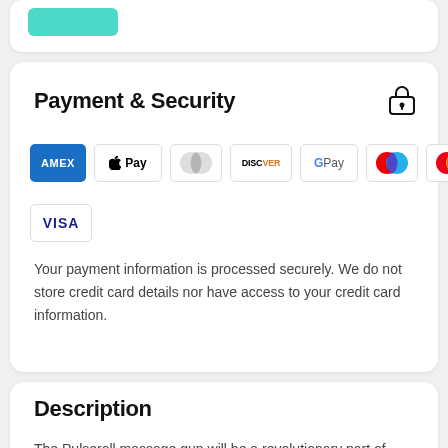[Figure (screenshot): Partial top card with teal button]
Payment & Security
[Figure (infographic): Payment method icons: AMEX, Apple Pay, Diners Club, Discover, Google Pay, Maestro, Mastercard, PayPal, OPay, Visa]
Your payment information is processed securely. We do not store credit card details nor have access to your credit card information.
Description
The Pulseroll massage gun will be a revolutionary part of your recovery routine. With quiet noise technology and a 3-hour battery life, the